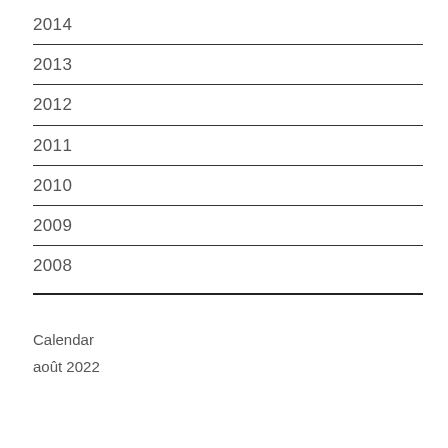2014
2013
2012
2011
2010
2009
2008
Calendar
août 2022